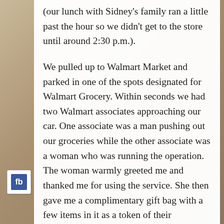(our lunch with Sidney's family ran a little past the hour so we didn't get to the store until around 2:30 p.m.).
We pulled up to Walmart Market and parked in one of the spots designated for Walmart Grocery. Within seconds we had two Walmart associates approaching our car. One associate was a man pushing out our groceries while the other associate was a woman who was running the operation. The woman warmly greeted me and thanked me for using the service. She then gave me a complimentary gift bag with a few items in it as a token of their appreciation. The man then had me sign off on the groceries and then both employees